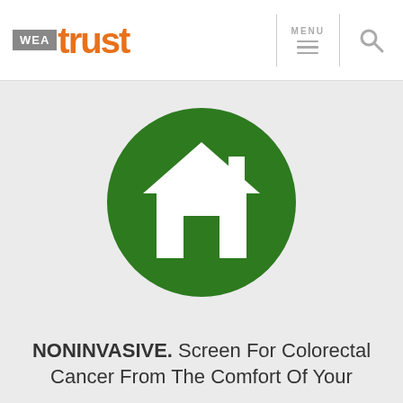WEA trust — MENU [hamburger menu] [search icon]
[Figure (illustration): Green circle with white house/home icon in the center]
NONINVASIVE. Screen For Colorectal Cancer From The Comfort Of Your